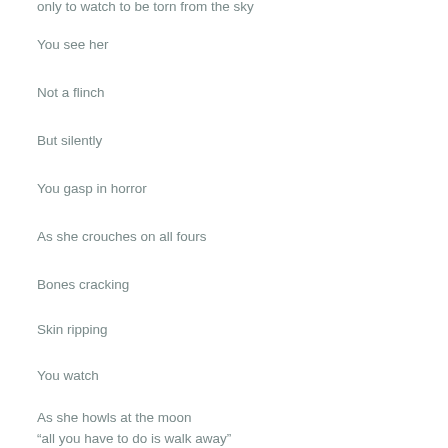only to watch to be torn from the sky
You see her
Not a flinch
But silently
You gasp in horror
As she crouches on all fours
Bones cracking
Skin ripping
You watch
As she howls at the moon
“all you have to do is walk away”